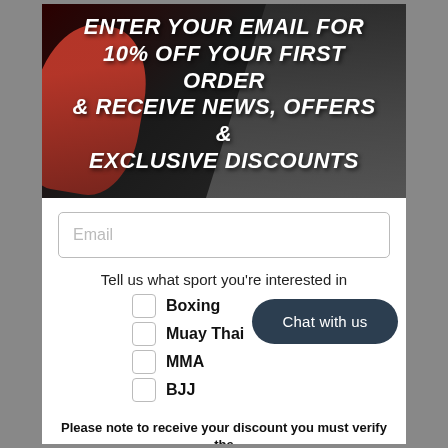[Figure (photo): Dark background photo of MMA/boxing fighters in REYGEAR branded gear with red boxing gloves on the left side]
ENTER YOUR EMAIL FOR 10% OFF YOUR FIRST ORDER & RECEIVE NEWS, OFFERS & EXCLUSIVE DISCOUNTS
Email (input placeholder)
Tell us what sport you're interested in
Boxing
Muay Thai
MMA
BJJ
Chat with us
Please note to receive your discount you must verify the